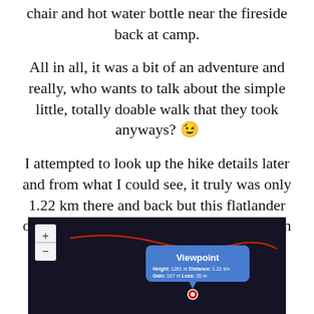chair and hot water bottle near the fireside back at camp.
All in all, it was a bit of an adventure and really, who wants to talk about the simple little, totally doable walk that they took anyways? 😉
I attempted to look up the hike details later and from what I could see, it truly was only 1.22 km there and back but this flatlander obviously has no experience with mountain side explorations 😛
[Figure (screenshot): A dark map screenshot showing a route with a popup balloon labeled 'Viewpoint' with details: Height: 1261 m, Distance: 1.22 km, Gain: 167 m, Loss: 20 m. A red dot marker and red trail line are visible. Map controls showing + and - zoom buttons on the left.]